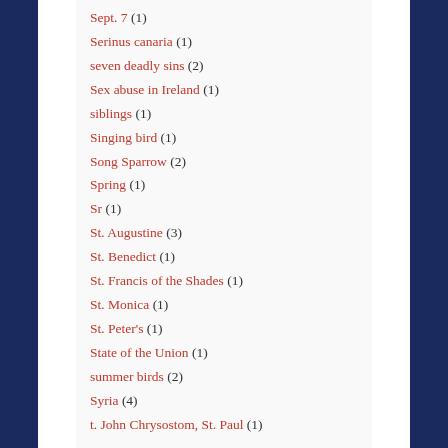Sept. 7 (1)
Serinus canaria (1)
seven deadly sins (2)
Sex abuse in Ireland (1)
siblings (1)
Singing bird (1)
Song Sparrow (2)
Spring (1)
Sr (1)
St. Augustine (3)
St. Benedict (1)
St. Francis of the Shades (1)
St. Monica (1)
St. Peter's (1)
State of the Union (1)
summer birds (2)
Syria (4)
t. John Chrysostom, St. Paul (1)